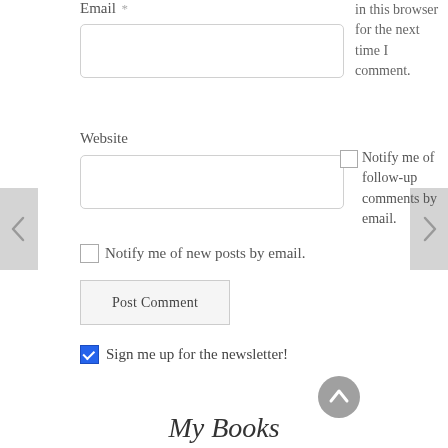Email *
in this browser for the next time I comment.
Website
Notify me of follow-up comments by email.
Notify me of new posts by email.
Post Comment
Sign me up for the newsletter!
My Books